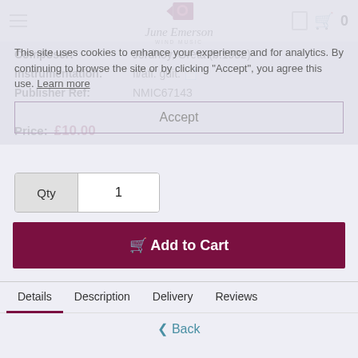June Emerson Wind Music
This site uses cookies to enhance your experience and for analytics. By continuing to browse the site or by clicking "Accept", you agree this use. Learn more
Accept
Composer: Jordhoy, Greta (b.1932)
Instrumentation: fl/afl. guit.
Publisher Ref: NMIC67143
Price: £10.00
Qty 1
Add to Cart
Details  Description  Delivery  Reviews
Back